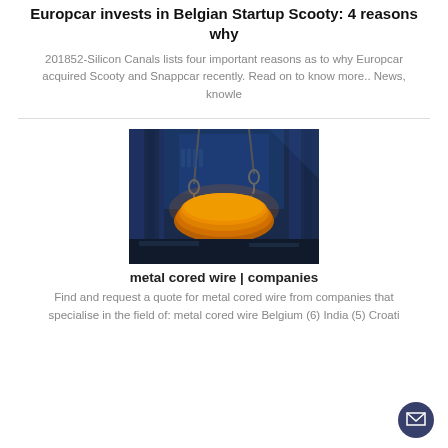Europcar invests in Belgian Startup Scooty: 4 reasons why
201852-Silicon Canals lists four important reasons as to why Europcar acquired Scooty and Snappcar recently. Read on to know more.. News, knowle
[Figure (photo): Industrial photo showing molten metal being lifted by crane hooks inside a large factory or steel plant, with blue lighting in the background and glowing orange/gold metal object.]
metal cored wire | companies
Find and request a quote for metal cored wire from companies that specialise in the field of: metal cored wire Belgium (6) India (5) Croati